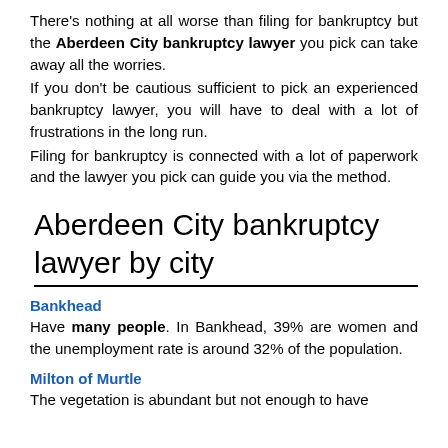There's nothing at all worse than filing for bankruptcy but the Aberdeen City bankruptcy lawyer you pick can take away all the worries.
If you don't be cautious sufficient to pick an experienced bankruptcy lawyer, you will have to deal with a lot of frustrations in the long run.
Filing for bankruptcy is connected with a lot of paperwork and the lawyer you pick can guide you via the method.
Aberdeen City bankruptcy lawyer by city
Bankhead
Have many people. In Bankhead, 39% are women and the unemployment rate is around 32% of the population.
Milton of Murtle
The vegetation is abundant but not enough to have